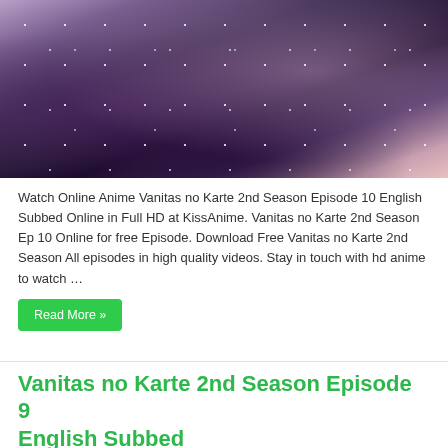[Figure (photo): Anime key visual for Vanitas no Karte 2nd Season showing anime characters in a dark, snowy scene with purple and pink tones]
Watch Online Anime Vanitas no Karte 2nd Season Episode 10 English Subbed Online in Full HD at KissAnime. Vanitas no Karte 2nd Season Ep 10 Online for free Episode. Download Free Vanitas no Karte 2nd Season All episodes in high quality videos. Stay in touch with hd anime to watch …
Read More »
Vanitas no Karte 2nd Season Episode 9 English Subbed
March 11, 2022   Vanitas no Karte 2nd Season   0
[Figure (photo): Anime image for Vanitas no Karte 2nd Season Episode 9, partially visible at bottom of page]